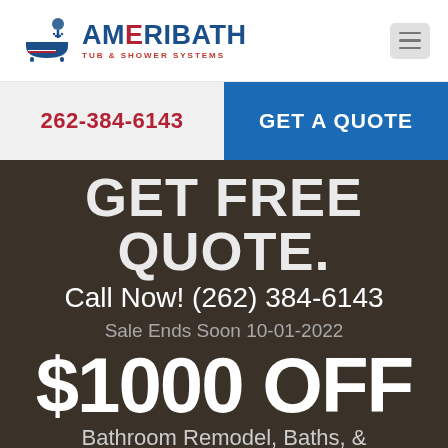[Figure (logo): AmeriBath Tub & Shower Systems logo with shower/tub icon and red white blue branding]
262-384-6143
GET A QUOTE
GET FREE QUOTE.
Call Now! (262) 384-6143
Sale Ends Soon 10-01-2022
$1000 OFF
Bathroom Remodel, Baths, & Showers + 0% Financing!